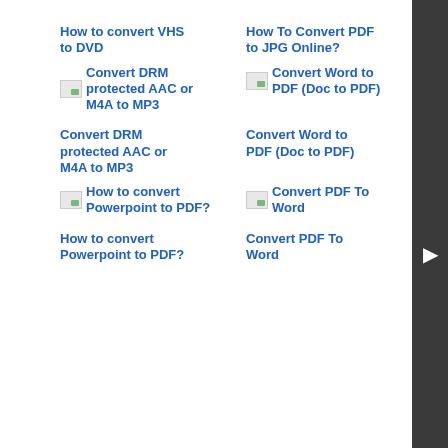How to convert VHS to DVD
How To Convert PDF to JPG Online?
[Figure (other): Thumbnail image link: Convert DRM protected AAC or M4A to MP3]
[Figure (other): Thumbnail image link: Convert Word to PDF (Doc to PDF)]
Convert DRM protected AAC or M4A to MP3
Convert Word to PDF (Doc to PDF)
[Figure (other): Thumbnail image link: How to convert Powerpoint to PDF?]
[Figure (other): Thumbnail image link: Convert PDF To Word]
How to convert Powerpoint to PDF?
Convert PDF To Word